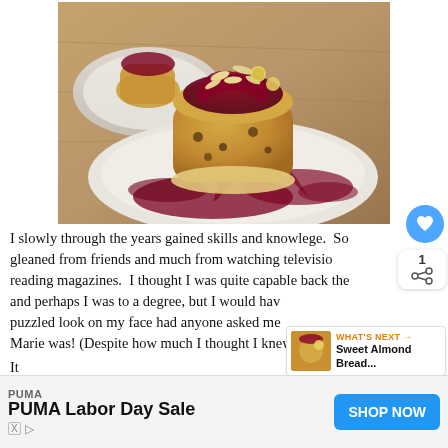[Figure (photo): A bread pudding or similar baked dessert on a white plate, topped with berry compote sauce and sliced almonds, with another portion visible in the background]
I slowly through the years gained skills and knowlege. So gleaned from friends and much from watching television reading magazines. I thought I was quite capable back then, and perhaps I was to a degree, but I would have puzzled look on my face had anyone asked me w Marie was! (Despite how much I thought I knew!)
[Figure (other): What's Next thumbnail showing Sweet Almond Bread]
WHAT'S NEXT → Sweet Almond Bread...
[Figure (other): PUMA Labor Day Sale advertisement with SHOP NOW button]